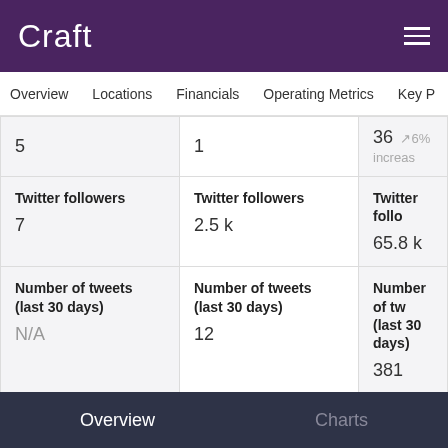Craft
Overview  Locations  Financials  Operating Metrics  Key P
| Col1 | Col2 | Col3 |
| --- | --- | --- |
| 5 | 1 | 36 ~6% increas |
| Twitter followers
7 | Twitter followers
2.5 k | Twitter follo
65.8 k |
| Number of tweets (last 30 days)
N/A | Number of tweets (last 30 days)
12 | Number of tw (last 30 days)
381 |
| Average likes per tweet (last 30 days)
N/A | Average likes per tweet (last 30 days)
36.9 | Average likes tweet (last 30 days)
52.8 |
Overview   Charts